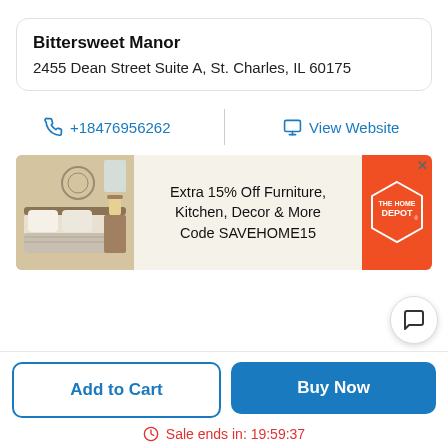Bittersweet Manor
2455 Dean Street Suite A, St. Charles, IL 60175
+18476956262
View Website
[Figure (screenshot): Home Depot advertisement: Extra 15% Off Furniture, Kitchen, Decor & More Code SAVEHOME15]
Add to Cart
Buy Now
Sale ends in: 19:59:37